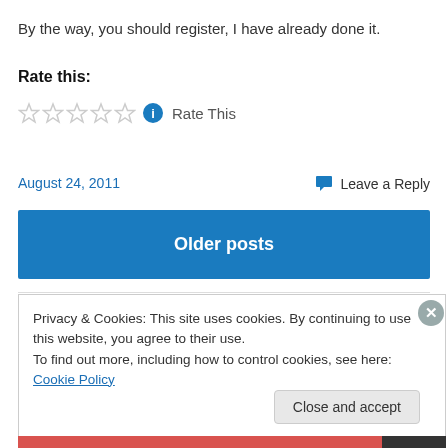By the way, you should register, I have already done it.
Rate this:
[Figure (other): Five empty star rating widgets followed by a blue info icon and 'Rate This' text]
August 24, 2011
Leave a Reply
Older posts
Privacy & Cookies: This site uses cookies. By continuing to use this website, you agree to their use.
To find out more, including how to control cookies, see here: Cookie Policy
Close and accept